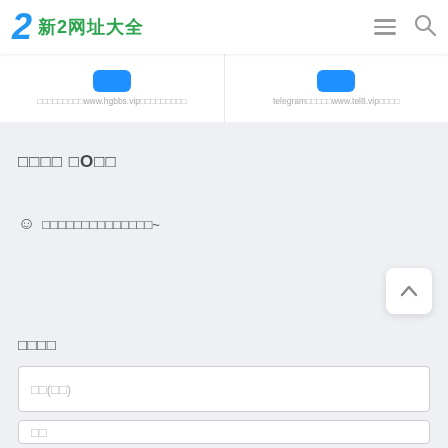新2网址大全
[Figure (screenshot): Two card items showing links: www.hgbbs.vip and telegram www.tel8.vip with blue icons]
□□□□ □O□□
☺ □□□□□□□□□□□□□□~
□□□□
□□(□□)
□□
□□